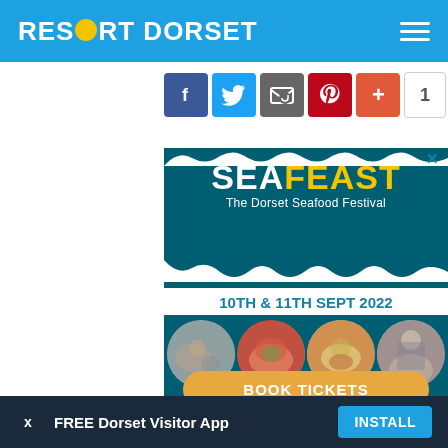RESORT DORSET
[Figure (illustration): Social share buttons: Facebook, Twitter, Email, Pinterest, Google+, count badge showing 1]
[Figure (illustration): SeaFeast - The Dorset Seafood Festival advertisement banner. Teal background with wave design. Shows SEAFEAST title, 10TH & 11TH SEPT 2022 date, circular food/event photos, and BOOK TICKETS button.]
FREE Dorset Visitor App   INSTALL